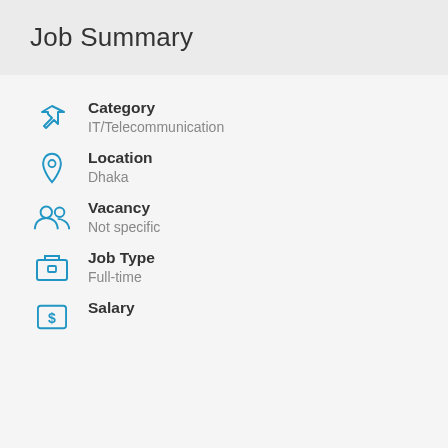Job Summary
Category: IT/Telecommunication
Location: Dhaka
Vacancy: Not specific
Job Type: Full-time
Salary